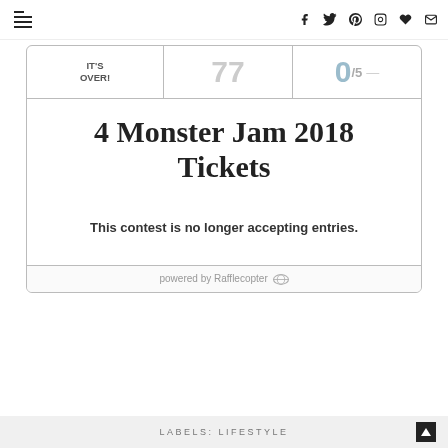Navigation and social icons bar
[Figure (screenshot): Rafflecopter giveaway widget showing '4 Monster Jam 2018 Tickets' contest that is no longer accepting entries. Top row shows IT'S OVER!, 77, and 0/5. Main body shows title '4 Monster Jam 2018 Tickets' and message 'This contest is no longer accepting entries.' Footer shows 'powered by Rafflecopter'.]
LABELS: LIFESTYLE